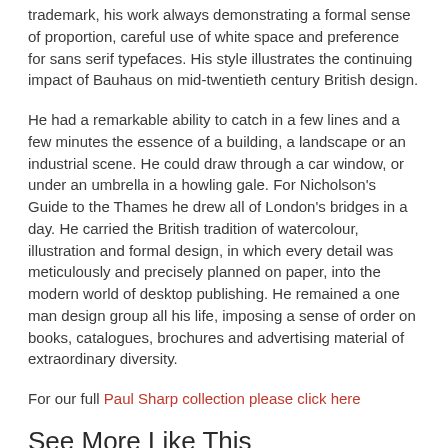trademark, his work always demonstrating a formal sense of proportion, careful use of white space and preference for sans serif typefaces. His style illustrates the continuing impact of Bauhaus on mid-twentieth century British design.
He had a remarkable ability to catch in a few lines and a few minutes the essence of a building, a landscape or an industrial scene. He could draw through a car window, or under an umbrella in a howling gale. For Nicholson's Guide to the Thames he drew all of London's bridges in a day. He carried the British tradition of watercolour, illustration and formal design, in which every detail was meticulously and precisely planned on paper, into the modern world of desktop publishing. He remained a one man design group all his life, imposing a sense of order on books, catalogues, brochures and advertising material of extraordinary diversity.
For our full Paul Sharp collection please click here
See More Like This
Sulis Fine Art's art historian Olivia Nichols has written an interesting article on Paul Sharp which you can read here
For our full collection of these click here